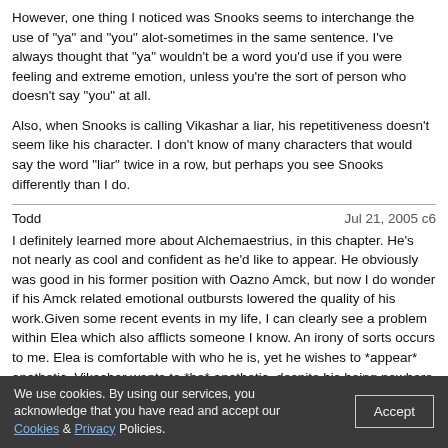However, one thing I noticed was Snooks seems to interchange the use of "ya" and "you" alot-sometimes in the same sentence. I've always thought that "ya" wouldn't be a word you'd use if you were feeling and extreme emotion, unless you're the sort of person who doesn't say "you" at all.
Also, when Snooks is calling Vikashar a liar, his repetitiveness doesn't seem like his character. I don't know of many characters that would say the word "liar" twice in a row, but perhaps you see Snooks differently than I do.
Todd    Jul 21, 2005 c6
I definitely learned more about Alchemaestrius, in this chapter. He's not nearly as cool and confident as he'd like to appear. He obviously was good in his former position with Oazno Amck, but now I do wonder if his Amck related emotional outbursts lowered the quality of his work.Given some recent events in my life, I can clearly see a problem within Elea which also afflicts someone I know. An irony of sorts occurs to me. Elea is comfortable with who he is, yet he wishes to *appear* apathetic. Vikashar wants to *be* apathetic, despite his being nowhere close to achieving that, at the moment.
This chapter added another layer to Snooks' and Vikashar's relationship for me, or enhanced something I'd already seen, I suppose. Snooks really has me thinking. Perhaps...he impulsively got into a marriage with Fyree, but remained despite losing romantic interest in her(he says he loves her, but that doesn't necessarily mean romantic love). But he actually *falls* for Elea and then Vikashar. Snooks seems to appreciate Vikashar's company
We use cookies. By using our services, you acknowledge that you have read and accept our Cookies & Privacy Policies.